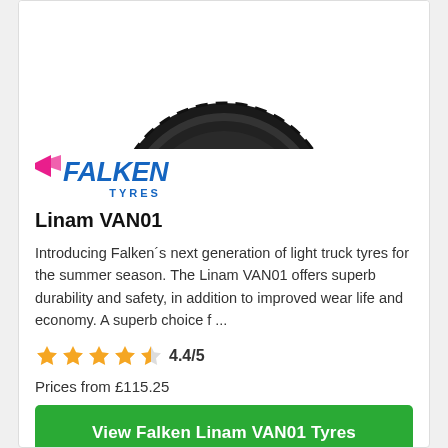[Figure (photo): Falken tyre product photo showing tread pattern from an angle, partially cropped at top]
[Figure (logo): Falken Tyres logo — FALKEN in blue italics with pink chevron, TYRES in blue below]
Linam VAN01
Introducing Falken´s next generation of light truck tyres for the summer season. The Linam VAN01 offers superb durability and safety, in addition to improved wear life and economy. A superb choice f ...
4.4/5
Prices from £115.25
View Falken Linam VAN01 Tyres